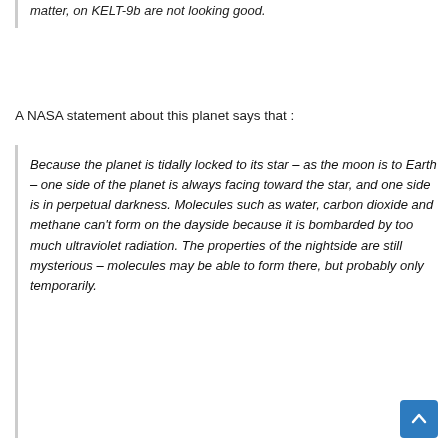matter, on KELT-9b are not looking good.
A NASA statement about this planet says that :
Because the planet is tidally locked to its star – as the moon is to Earth – one side of the planet is always facing toward the star, and one side is in perpetual darkness. Molecules such as water, carbon dioxide and methane can't form on the dayside because it is bombarded by too much ultraviolet radiation. The properties of the nightside are still mysterious – molecules may be able to form there, but probably only temporarily.